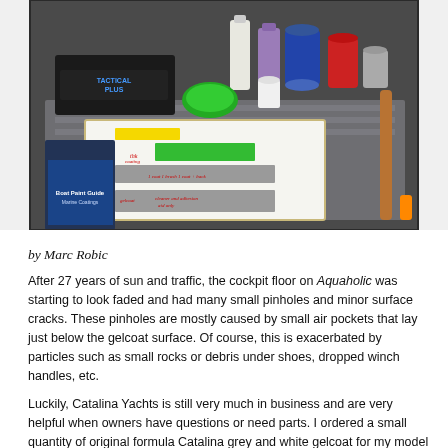[Figure (photo): Photograph of boat painting supplies including cans, bottles, a box labeled TACTICAL PLUS, brushes, and a test board with paint color swatches in yellow, green, and grey, alongside a Boat Paint Guide booklet, laid out on an outdoor work surface.]
by Marc Robic
After 27 years of sun and traffic, the cockpit floor on Aquaholic was starting to look faded and had many small pinholes and minor surface cracks. These pinholes are mostly caused by small air pockets that lay just below the gelcoat surface. Of course, this is exacerbated by particles such as small rocks or debris under shoes, dropped winch handles, etc.
Luckily, Catalina Yachts is still very much in business and are very helpful when owners have questions or need parts. I ordered a small quantity of original formula Catalina grey and white gelcoat for my model and year.